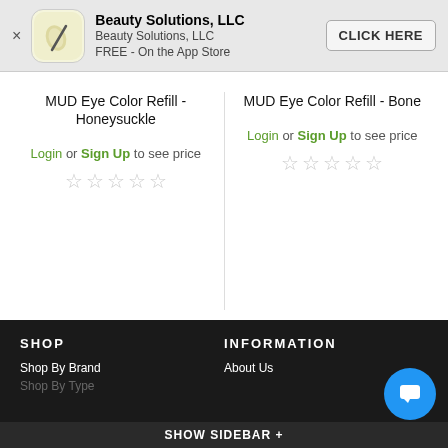[Figure (screenshot): App store banner for Beauty Solutions, LLC showing app icon, name, price (FREE), and CLICK HERE button]
MUD Eye Color Refill - Honeysuckle
Login or Sign Up to see price
MUD Eye Color Refill - Bone
Login or Sign Up to see price
SHOP
INFORMATION
Shop By Brand
About Us
Shop By Type
SHOW SIDEBAR +